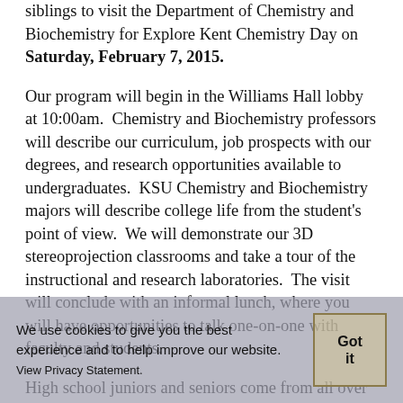siblings to visit the Department of Chemistry and Biochemistry for Explore Kent Chemistry Day on Saturday, February 7, 2015.
Our program will begin in the Williams Hall lobby at 10:00am.  Chemistry and Biochemistry professors will describe our curriculum, job prospects with our degrees, and research opportunities available to undergraduates.  KSU Chemistry and Biochemistry majors will describe college life from the student's point of view.  We will demonstrate our 3D stereoprojection classrooms and take a tour of the instructional and research laboratories.  The visit will conclude with an informal lunch, where you will have opportunities to talk one-on-one with faculty and students.
High school juniors and seniors come from all over Ohio and neighboring states for Explore Kent Chemistry Day.  Current KSU students who are